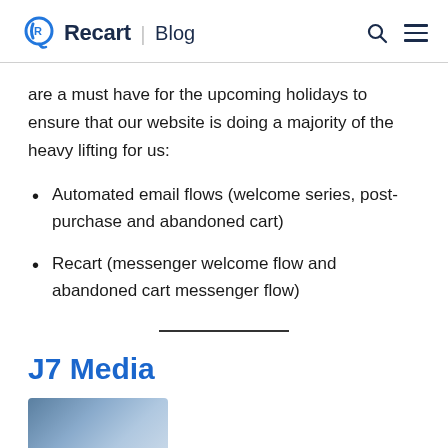Recart | Blog
are a must have for the upcoming holidays to ensure that our website is doing a majority of the heavy lifting for us:
Automated email flows (welcome series, post-purchase and abandoned cart)
Recart (messenger welcome flow and abandoned cart messenger flow)
J7 Media
[Figure (photo): A cropped photograph partially visible at the bottom of the page]